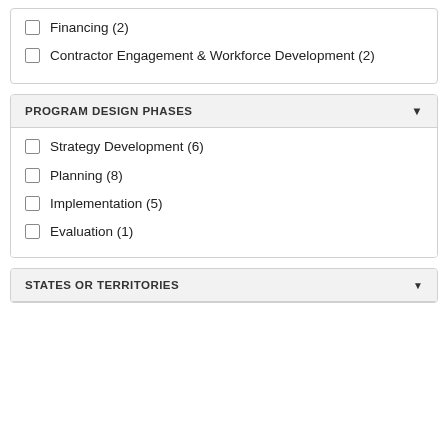Financing (2)
Contractor Engagement & Workforce Development (2)
PROGRAM DESIGN PHASES
Strategy Development (6)
Planning (8)
Implementation (5)
Evaluation (1)
STATES OR TERRITORIES